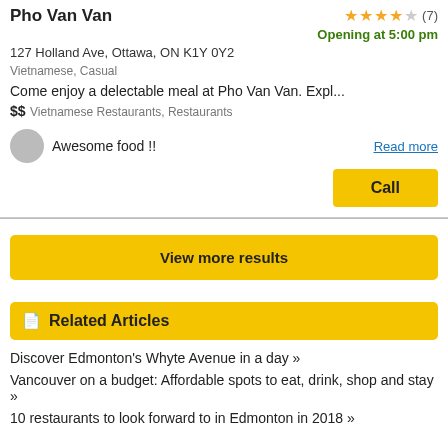Pho Van Van
127 Holland Ave, Ottawa, ON K1Y 0Y2
Vietnamese, Casual
Opening at 5:00 pm
Come enjoy a delectable meal at Pho Van Van. Expl...
$$
Vietnamese Restaurants, Restaurants
Awesome food !!
Read more
Call
View more results
Related Articles
Discover Edmonton's Whyte Avenue in a day »
Vancouver on a budget: Affordable spots to eat, drink, shop and stay »
10 restaurants to look forward to in Edmonton in 2018 »